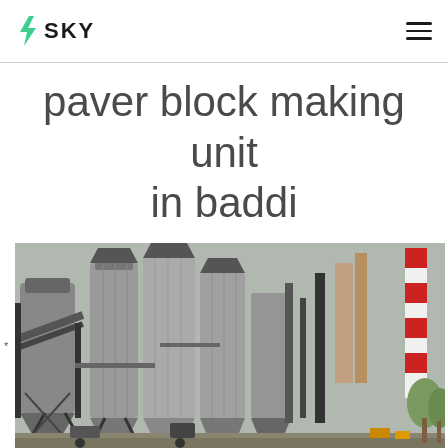SKY
paver block making unit in baddi
[Figure (photo): Industrial factory scene showing large metallic silos and industrial equipment structures, likely a paver block or construction material plant in Baddi.]